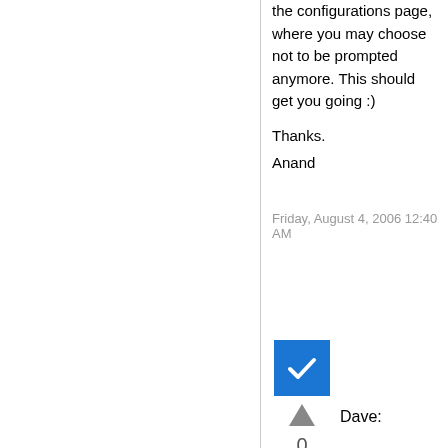the configurations page, where you may choose not to be prompted anymore. This should get you going :)
Thanks.
Anand
Friday, August 4, 2006 12:40 AM
[Figure (other): Blue checkbox with white checkmark icon, followed by an upward triangle arrow, vote count of 0, and a 'Sign in to vote' link]
Dave: